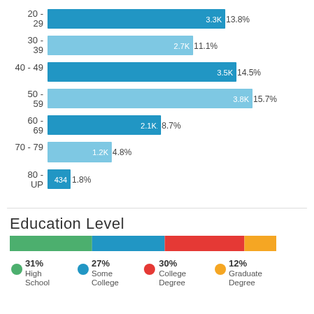[Figure (bar-chart): Age Groups (horizontal bar chart)]
Education Level
[Figure (stacked-bar-chart): Education Level]